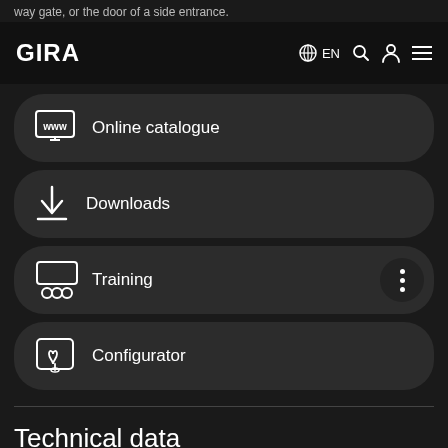way gate, or the door of a side entrance.
GIRA   EN   [search] [account] [menu]
Online catalogue
Downloads
Training
Configurator
Technical data